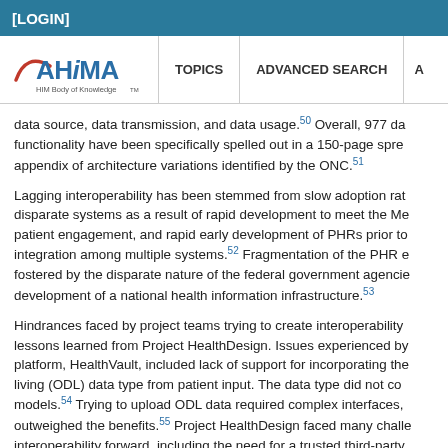[LOGIN]
[Figure (logo): AHIMA HIM Body of Knowledge logo with navigation bar showing TOPICS and ADVANCED SEARCH links]
data source, data transmission, and data usage.50 Overall, 977 da functionality have been specifically spelled out in a 150-page spre appendix of architecture variations identified by the ONC.51
Lagging interoperability has been stemmed from slow adoption rat disparate systems as a result of rapid development to meet the Me patient engagement, and rapid early development of PHRs prior to integration among multiple systems.52 Fragmentation of the PHR e fostered by the disparate nature of the federal government agencie development of a national health information infrastructure.53
Hindrances faced by project teams trying to create interoperability lessons learned from Project HealthDesign. Issues experienced by platform, HealthVault, included lack of support for incorporating the living (ODL) data type from patient input. The data type did not co models.54 Trying to upload ODL data required complex interfaces, outweighed the benefits.55 Project HealthDesign faced many challe interoperability forward, including the need for a trusted third-party provide complete data ownership to patients and the need for prov